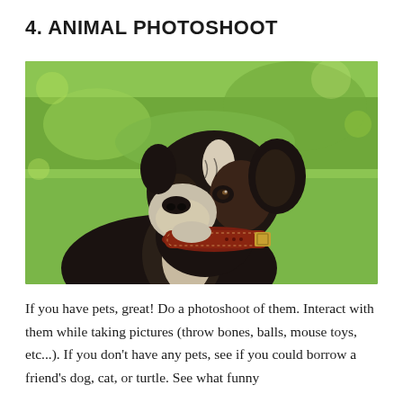4. ANIMAL PHOTOSHOOT
[Figure (photo): Close-up portrait of a brindle and white Boxer dog wearing a brown leather collar with a gold buckle, looking to the left, with a blurred green grass background.]
If you have pets, great! Do a photoshoot of them. Interact with them while taking pictures (throw bones, balls, mouse toys, etc...). If you don't have any pets, see if you could borrow a friend's dog, cat, or turtle. See what funny